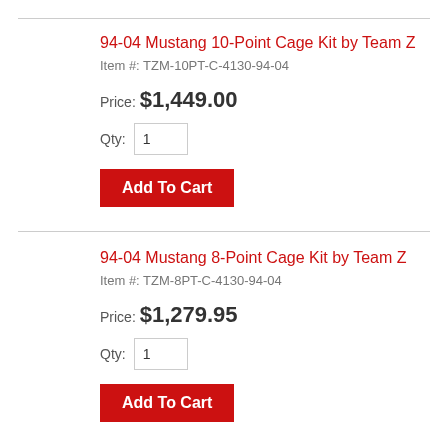94-04 Mustang 10-Point Cage Kit by Team Z
Item #: TZM-10PT-C-4130-94-04
Price: $1,449.00
Qty: 1
Add To Cart
94-04 Mustang 8-Point Cage Kit by Team Z
Item #: TZM-8PT-C-4130-94-04
Price: $1,279.95
Qty: 1
Add To Cart